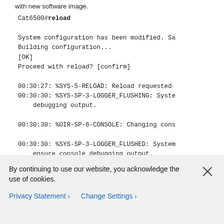with new software image.
Cat6500#reload

System configuration has been modified. Sa
Building configuration...
[OK]
Proceed with reload? [confirm]

00:30:27: %SYS-5-RELOAD: Reload requested
00:30:30: %SYS-SP-3-LOGGER_FLUSHING: Syste
    debugging output.

00:30:30: %OIR-SP-6-CONSOLE: Changing cons

00:30:30: %SYS-SP-3-LOGGER_FLUSHED: System
    ensure console debugging output.

00:30:32: %SYS-SP-3-LOGGER_FLUSHING: Syste
    debugging output.
By continuing to use our website, you acknowledge the use of cookies.
Privacy Statement > Change Settings >